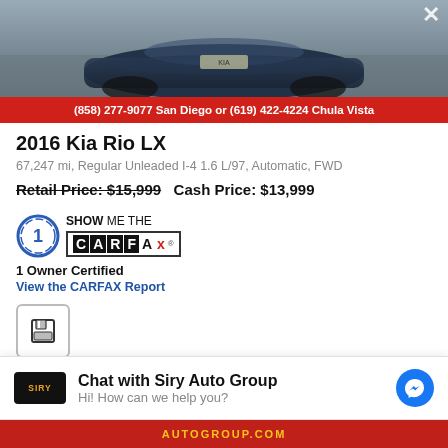[Figure (photo): Partial view of a dark blue Kia Rio car from above/front, on a gray asphalt surface]
(858) 277-9077 San Diego or (619) 422-4224 Chula Vista
2016 Kia Rio LX
67,247 mi, Regular Unleaded I-4 1.6 L/97, Automatic, FWD
Retail Price: $15,999  Cash Price: $13,999
[Figure (logo): CARFAX 1 Owner Certified badge with Show Me The CARFAX logo]
1 Owner Certified
View the CARFAX Report
[Figure (other): Save/floppy disk icon button]
Chat with Siry Auto Group
Hi! How can we help you?
AUTOGROUP.COM